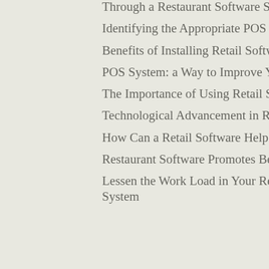Through a Restaurant Software System
Identifying the Appropriate POS Software for Various Businesses
Benefits of Installing Retail Software
POS System: a Way to Improve Your Business
The Importance of Using Retail Software in Your Store
Technological Advancement in Retail Market
How Can a Retail Software Help in Controlling Inventories?
Restaurant Software Promotes Better Restaurant Management
Lessen the Work Load in Your Restaurant by Installing a Restaurant Software System